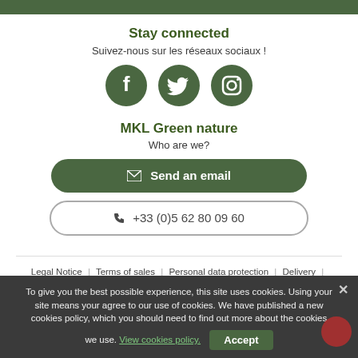Stay connected
Suivez-nous sur les réseaux sociaux !
[Figure (illustration): Three dark green circular social media icons: Facebook, Twitter, Instagram]
MKL Green nature
Who are we?
Send an email
+33 (0)5 62 80 09 60
Legal Notice | Terms of sales | Personal data protection | Delivery | Secure payment | Sitemap
To give you the best possible experience, this site uses cookies. Using your site means your agree to our use of cookies. We have published a new cookies policy, which you should need to find out more about the cookies we use. View cookies policy. Accept